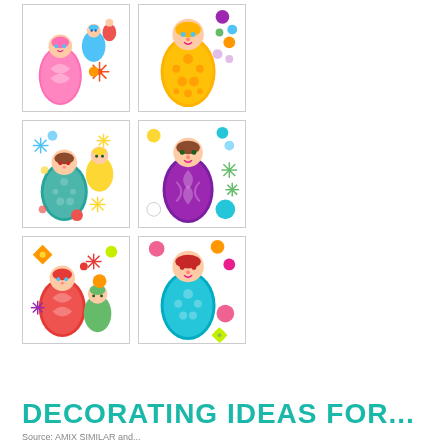[Figure (illustration): Grid of 6 matryoshka (Russian nesting doll) sticker sheet illustrations in various colorful styles: pink, orange, teal/green, purple, red/orange, and teal/aqua dolls with decorative snowflake and circle accents]
DECORATING IDEAS FOR...
Source: AMIX SIMILAR and...